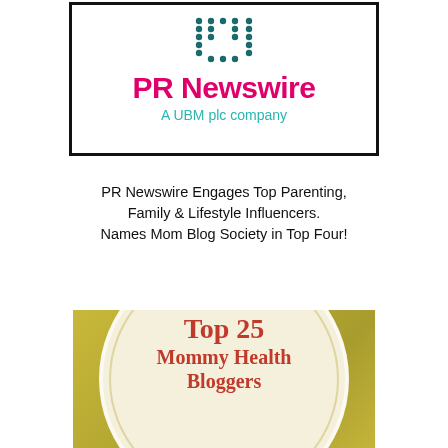[Figure (logo): PR Newswire logo with teal dot-matrix 'U' shape, pink 'PR Newswire' text, and teal 'A UBM plc company' subtitle]
PR Newswire Engages Top Parenting, Family & Lifestyle Influencers. Names Mom Blog Society in Top Four!
[Figure (illustration): Gold/olive square badge with cream circular inset containing a leaf decoration and text 'Top 25 Mommy Health Bloggers' in red serif font]